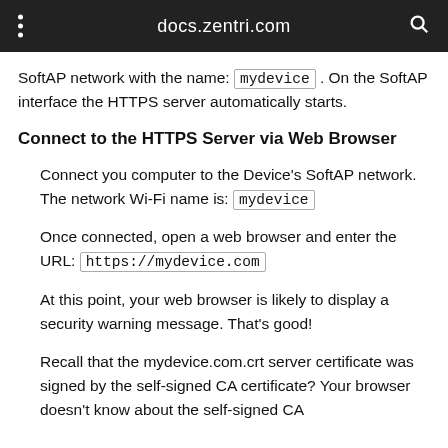docs.zentri.com
SoftAP network with the name: mydevice . On the SoftAP interface the HTTPS server automatically starts.
Connect to the HTTPS Server via Web Browser
Connect you computer to the Device's SoftAP network. The network Wi-Fi name is: mydevice
Once connected, open a web browser and enter the URL: https://mydevice.com
At this point, your web browser is likely to display a security warning message. That's good!
Recall that the mydevice.com.crt server certificate was signed by the self-signed CA certificate? Your browser doesn't know about the self-signed CA